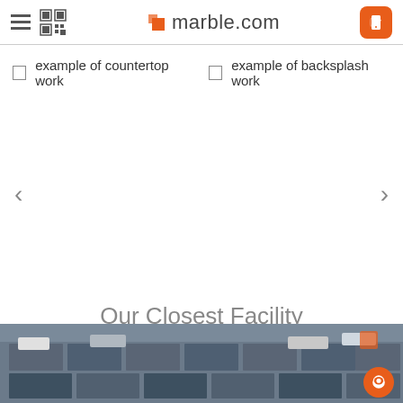marble.com
example of countertop work  example of backsplash work
[Figure (screenshot): Carousel navigation area with left and right arrow buttons on a white background]
Our Closest Facility
[Figure (photo): Aerial view of a large stone/marble slab facility yard with rows of slabs and trucks]